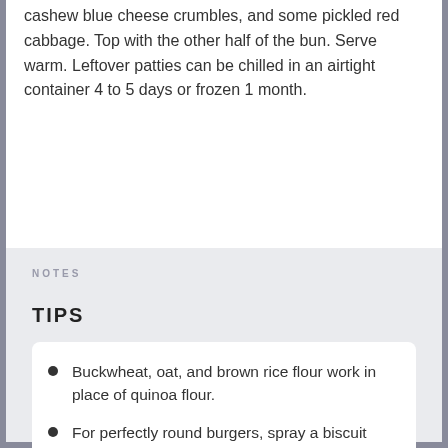cashew blue cheese crumbles, and some pickled red cabbage. Top with the other half of the bun. Serve warm. Leftover patties can be chilled in an airtight container 4 to 5 days or frozen 1 month.
NOTES
TIPS
Buckwheat, oat, and brown rice flour work in place of quinoa flour.
For perfectly round burgers, spray a biscuit cutter with olive oil and use it to shape your patty on the baking sheet.
If you want to brown the outside of the burgers, spray a frying pan with olive oil and cook the